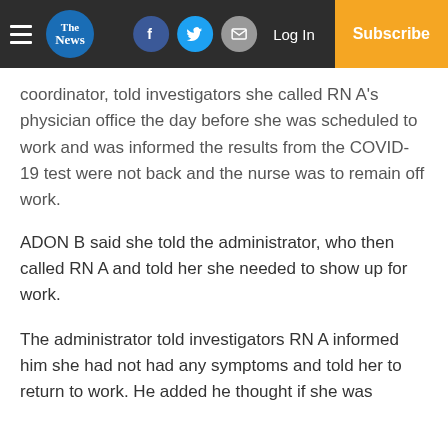The News — Navigation bar with hamburger menu, The News logo, Facebook, Twitter, Email icons, Log In, Subscribe
coordinator, told investigators she called RN A's physician office the day before she was scheduled to work and was informed the results from the COVID-19 test were not back and the nurse was to remain off work.
ADON B said she told the administrator, who then called RN A and told her she needed to show up for work.
The administrator told investigators RN A informed him she had not had any symptoms and told her to return to work. He added he thought if she was